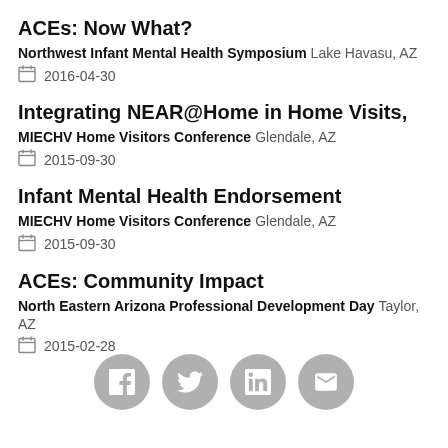ACEs: Now What?
Northwest Infant Mental Health Symposium   Lake Havasu, AZ
2016-04-30
Integrating NEAR@Home in Home Visits,
MIECHV Home Visitors Conference   Glendale, AZ
2015-09-30
Infant Mental Health Endorsement
MIECHV Home Visitors Conference   Glendale, AZ
2015-09-30
ACEs: Community Impact
North Eastern Arizona Professional Development Day   Taylor, AZ
2015-02-28